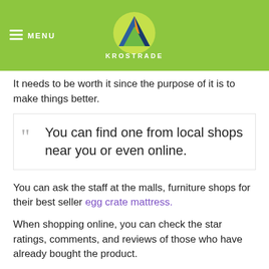MENU | KROSTRADE
It needs to be worth it since the purpose of it is to make things better.
You can find one from local shops near you or even online.
You can ask the staff at the malls, furniture shops for their best seller egg crate mattress.
When shopping online, you can check the star ratings, comments, and reviews of those who have already bought the product.